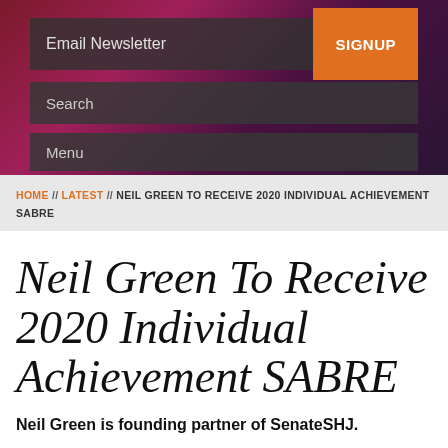Email Newsletter  SIGNUP
Search
Menu
HOME // LATEST // NEIL GREEN TO RECEIVE 2020 INDIVIDUAL ACHIEVEMENT SABRE
Neil Green To Receive 2020 Individual Achievement SABRE
Neil Green is founding partner of SenateSHJ.